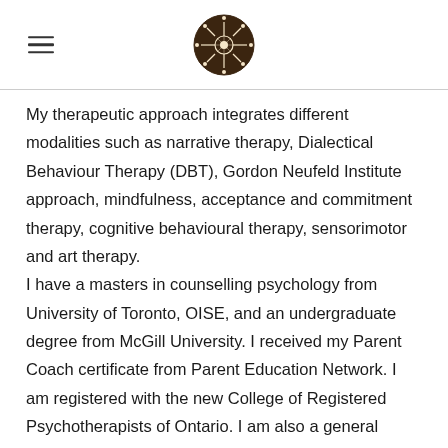[Logo: circular mandala-style icon]
My therapeutic approach integrates different modalities such as narrative therapy, Dialectical Behaviour Therapy (DBT), Gordon Neufeld Institute approach, mindfulness, acceptance and commitment therapy, cognitive behavioural therapy, sensorimotor and art therapy.
I have a masters in counselling psychology from University of Toronto, OISE, and an undergraduate degree from McGill University. I received my Parent Coach certificate from Parent Education Network. I am registered with the new College of Registered Psychotherapists of Ontario. I am also a general